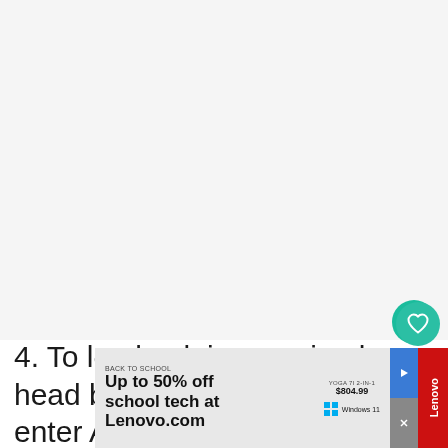[Figure (screenshot): Large empty light grey area representing a screenshot or image placeholder, with a teal heart/favorite button in the bottom-right corner and a share icon to its right.]
4. To log back in you simply head back to setting and enter Apple Id and password. They may send a 6 dig er typing in t ill be
[Figure (screenshot): Advertisement banner: Lenovo Back to School sale. 'Up to 50% off school tech at Lenovo.com'. Shows Yoga 7i 2-in-1 at $804.99, Windows 11 logo, play/close controls, red Lenovo branding on right side.]